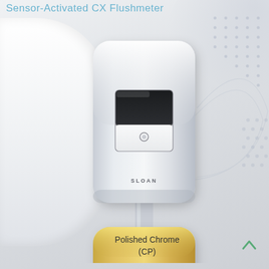Sensor-Activated CX Flushometer
[Figure (photo): Product photo of a Sloan Sensor-Activated CX Flushometer in Polished Chrome (CP) finish — a rectangular wall-mount unit with rounded corners, silver/chrome body, black sensor window on top and white lower panel with circular button. Mounted on a white wall with curved surround. Below it, a partial view of a gold/brass finish version of the same unit.]
Polished Chrome
(CP)